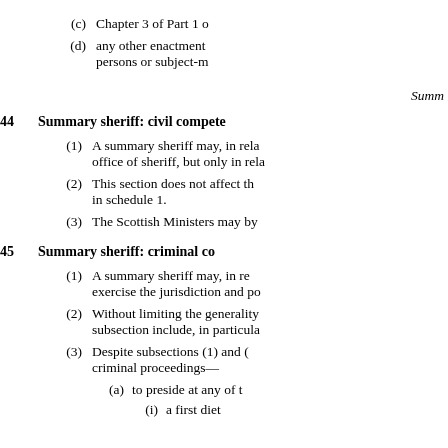(c) Chapter 3 of Part 1 o...
(d) any other enactment... persons or subject-m...
Summ...
44 Summary sheriff: civil compete...
(1) A summary sheriff may, in rela... office of sheriff, but only in rela...
(2) This section does not affect th... in schedule 1.
(3) The Scottish Ministers may by...
45 Summary sheriff: criminal co...
(1) A summary sheriff may, in re... exercise the jurisdiction and po...
(2) Without limiting the generality... subsection include, in particula...
(3) Despite subsections (1) and (... criminal proceedings—
(a) to preside at any of t...
(i) a first diet...